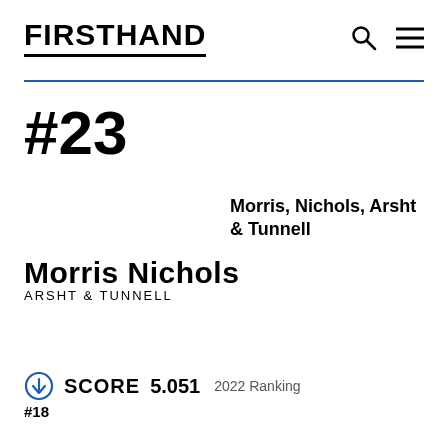FIRSTHAND
#23
Morris, Nichols, Arsht & Tunnell
[Figure (logo): Morris Nichols Arsht & Tunnell law firm logo with bold serif-style wordmark]
SCORE 5.051  2022 Ranking
#18